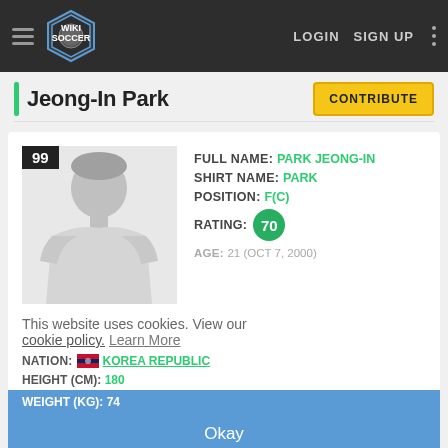Soccer Wiki — LOGIN  SIGN UP
Jeong-In Park
[Figure (screenshot): Soccer Wiki player profile page for Jeong-In Park showing player silhouette with jersey number 99, player stats including full name PARK JEONG-IN, shirt name PARK, position F(C), rating 70, age 21 (OCT 7, 2000), nation Korea Republic, height 180cm, weight 74kg, club Busan IPark, squad number 99, preferred foot RIGHT. Cookie consent overlay and Okay button visible.]
FULL NAME: PARK JEONG-IN
SHIRT NAME: PARK
POSITION: F(C)
RATING: 70
AGE: 21 (OCT 7, 2000)
NATION: KOREA REPUBLIC
HEIGHT (CM): 180
WEIGHT (KG): 74
CLUB: BUSAN IPARK
SQUAD NUMBER: 99
PREFERRED FOOT: RIGHT
This website uses cookies. View our cookie policy. Learn More
Okay